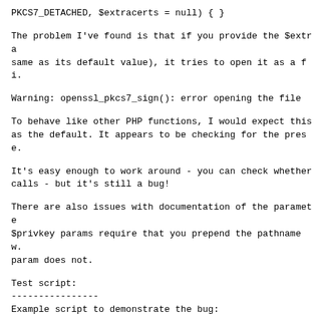PKCS7_DETACHED, $extracerts = null) { }
The problem I've found is that if you provide the $extra same as its default value), it tries to open it as a fi.
Warning: openssl_pkcs7_sign(): error opening the file
To behave like other PHP functions, I would expect this as the default. It appears to be checking for the prese.
It's easy enough to work around - you can check whether calls - but it's still a bug!
There are also issues with documentation of the paramete $privkey params require that you prepend the pathname w. param does not.
Test script:
----------------
Example script to demonstrate the bug:
https://gist.github.com/Synchro/b9e4625013077def0cf7
A successful run should produce no output at all
Actual result: